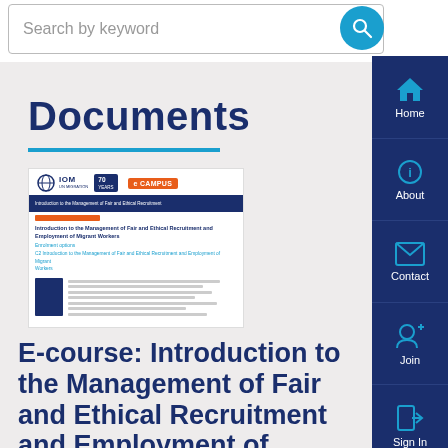Search by keyword
Documents
[Figure (screenshot): Screenshot of IOM e-Campus webpage showing the Introduction to the Management of Fair and Ethical Recruitment and Employment of Migrant Workers e-course page, with IOM 70 Years and e-Campus logos at top, and a course thumbnail image]
E-course: Introduction to the Management of Fair and Ethical Recruitment and Employment of Migrant Workers